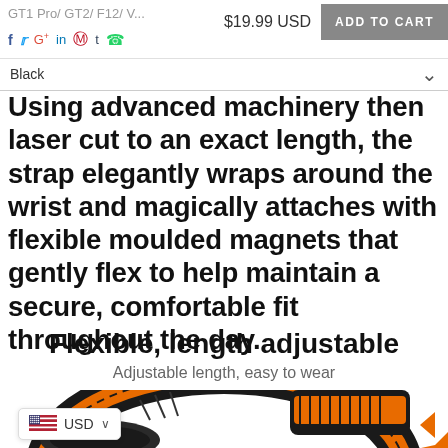GT1 Pro/ GT2/ F12/ V... $19.99 USD ADD TO CART
f t G+ in p t (whatsapp)
Black
Using advanced machinery then laser cut to an exact length, the strap elegantly wraps around the wrist and magically attaches with flexible moulded magnets that gently flex to help maintain a secure, comfortable fit throughout the day.
Flexible, length adjustable
Adjustable length, easy to wear
[Figure (photo): Black and orange watch strap product photo showing the magnetic band wrapped around, with orange arrows indicating adjustability]
USD